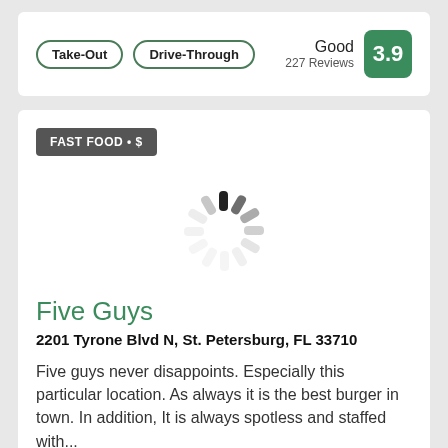Take-Out
Drive-Through
Good 227 Reviews 3.9
FAST FOOD • $
[Figure (other): Loading spinner / activity indicator]
Five Guys
2201 Tyrone Blvd N, St. Petersburg, FL 33710
Five guys never disappoints. Especially this particular location. As always it is the best burger in town. In addition, It is always spotless and staffed with...